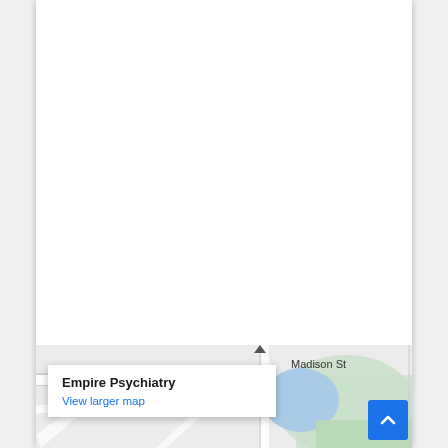[Figure (map): Google Maps embed showing Empire Psychiatry location near Madison St, with blue and green area markings, a location pin marker, tooltip showing 'Empire Psychiatry' and 'View larger map' link, and a scroll-to-top button.]